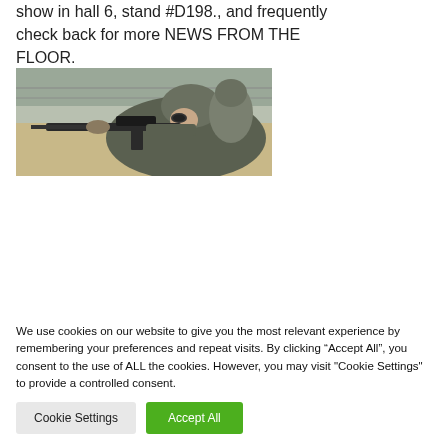show in hall 6, stand #D198., and frequently check back for more NEWS FROM THE FLOOR.
[Figure (photo): Soldier in combat gear aiming a rifle with optic scope, wearing helmet and camouflage uniform, outdoor setting with fence and earthen wall in background]
We use cookies on our website to give you the most relevant experience by remembering your preferences and repeat visits. By clicking “Accept All”, you consent to the use of ALL the cookies. However, you may visit "Cookie Settings" to provide a controlled consent.
Cookie Settings    Accept All